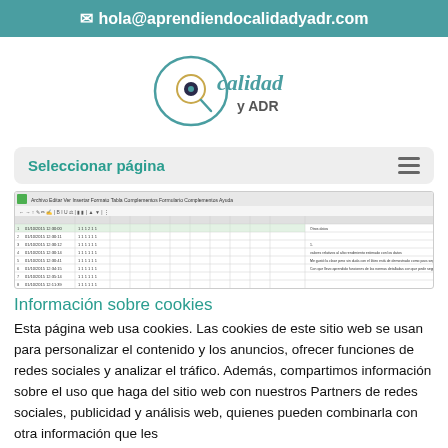✉ hola@aprendiendocalidadyadr.com
[Figure (logo): Calidad y ADR logo — spiral 'Q' shape with teal circle, handwritten 'calidad' text, and 'y ADR' below]
Seleccionar página
[Figure (screenshot): Screenshot of a spreadsheet application showing tabular data with rows and columns]
Información sobre cookies
Esta página web usa cookies. Las cookies de este sitio web se usan para personalizar el contenido y los anuncios, ofrecer funciones de redes sociales y analizar el tráfico. Además, compartimos información sobre el uso que haga del sitio web con nuestros Partners de redes sociales, publicidad y análisis web, quienes pueden combinarla con otra información que les